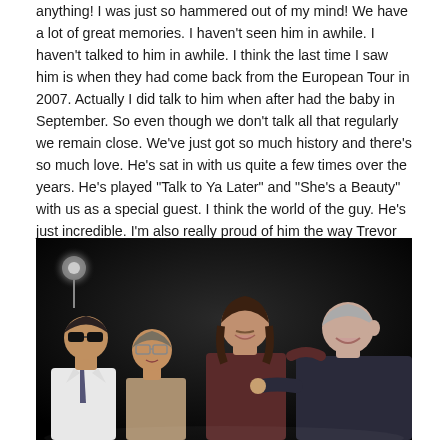anything! I was just so hammered out of my mind! We have a lot of great memories. I haven't seen him in awhile. I haven't talked to him in awhile. I think the last time I saw him is when they had come back from the European Tour in 2007. Actually I did talk to him when after had the baby in September. So even though we don't talk all that regularly we remain close. We've just got so much history and there's so much love. He's sat in with us quite a few times over the years. He's played "Talk to Ya Later" and "She's a Beauty" with us as a special guest. I think the world of the guy. He's just incredible. I'm also really proud of him the way Trevor and Christina have turned out. He's a really good dad and really raised those kids. Trevors' a great guitar player also. I think the world of the guy!"
[Figure (photo): Group photo of four men at what appears to be a dark concert venue. From left to right: a person in sunglasses with a white shirt and tie, a person with glasses looking upward, a taller person in a dark shirt smiling, and a person on the right smiling and gesturing/pointing.]